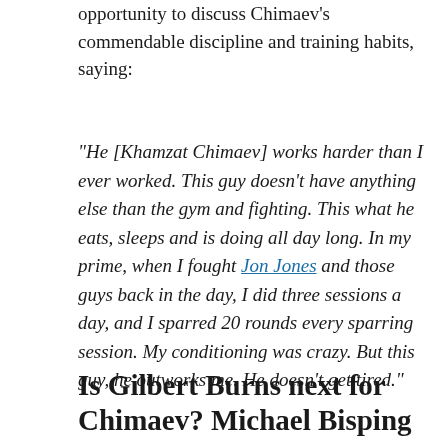opportunity to discuss Chimaev's commendable discipline and training habits, saying:
“He [Khamzat Chimaev] works harder than I ever worked. This guy doesn’t have anything else than the gym and fighting. This what he eats, sleeps and is doing all day long. In my prime, when I fought Jon Jones and those guys back in the day, I did three sessions a day, and I sparred 20 rounds every sparring session. My conditioning was crazy. But this guy, he outworks me. He doesn’t get tired.”
Is Gilbert Burns next for Chimaev? Michael Bisping weighs in